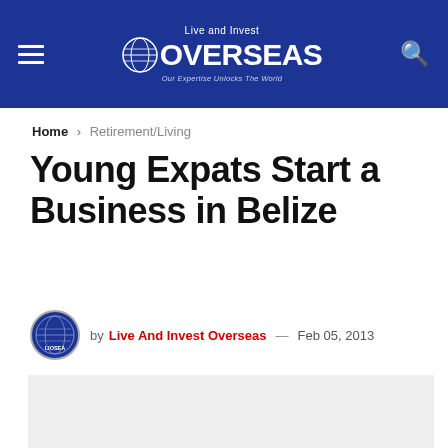Live and Invest Overseas — Our Expertise Unlocks The World
Home › Retirement/Living
Young Expats Start a Business in Belize
by Live And Invest Overseas — Feb 05, 2013
[Figure (photo): Article image placeholder — light gray rectangular area]